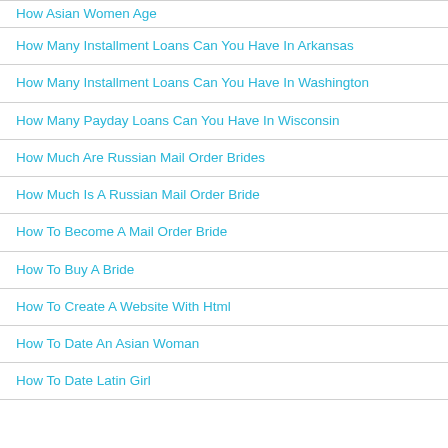How Asian Women Age
How Many Installment Loans Can You Have In Arkansas
How Many Installment Loans Can You Have In Washington
How Many Payday Loans Can You Have In Wisconsin
How Much Are Russian Mail Order Brides
How Much Is A Russian Mail Order Bride
How To Become A Mail Order Bride
How To Buy A Bride
How To Create A Website With Html
How To Date An Asian Woman
How To Date Latin Girl